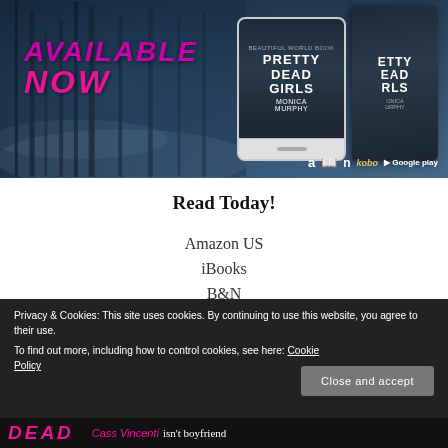[Figure (illustration): Book advertisement banner for 'Pretty Dead Girls' by Monica Murphy showing misty forest background, tablet and physical book covers, 'Available Now' text in pink/magenta, and retailer icons (Amazon, iBooks, Nook, Kobo, Google Play)]
Read Today!
Amazon US
iBooks
B&N
Privacy & Cookies: This site uses cookies. By continuing to use this website, you agree to their use.
To find out more, including how to control cookies, see here: Cookie Policy
Close and accept
DEAD   Cass Vincenti isn't boyfriend